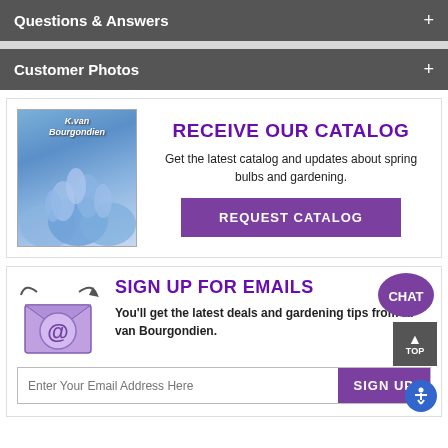Questions & Answers
Customer Photos
[Figure (illustration): K. van Bourgondien catalog cover showing blue bell flowers]
RECEIVE OUR CATALOG
Get the latest catalog and updates about spring bulbs and gardening.
REQUEST CATALOG
SIGN UP FOR EMAILS
[Figure (illustration): Purple envelope icon with @ symbol and arrows]
You'll get the latest deals and gardening tips from K. van Bourgondien.
Enter Your Email Address Here
SIGN UP